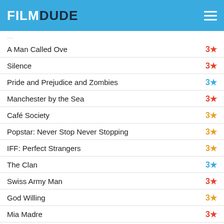FILMDUDE
A Man Called Ove — 3★
Silence — 3★
Pride and Prejudice and Zombies — 3★
Manchester by the Sea — 3★
Café Society — 3★
Popstar: Never Stop Never Stopping — 3★
IFF: Perfect Strangers — 3★
The Clan — 3★
Swiss Army Man — 3★
God Willing — 3★
Mia Madre — 3★
The Witch — 3★